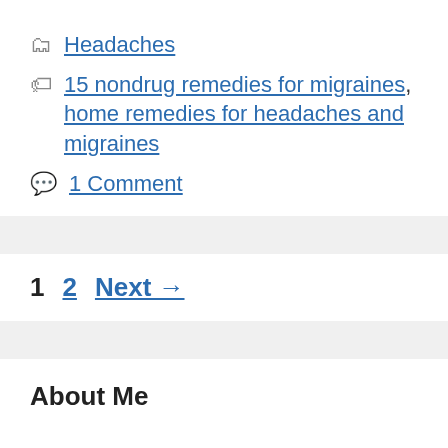Headaches
15 nondrug remedies for migraines, home remedies for headaches and migraines
1 Comment
1  2  Next →
About Me